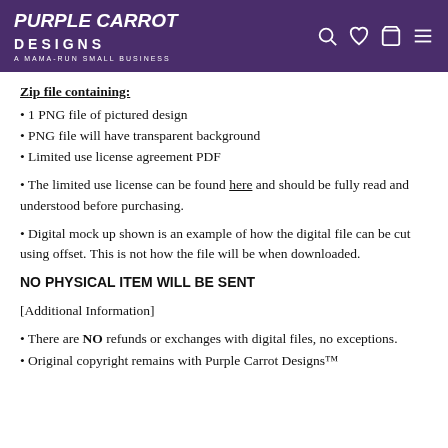Purple Carrot Designs — A MAMA-RUN SMALL BUSINESS
Zip file containing:
1 PNG file of pictured design
PNG file will have transparent background
Limited use license agreement PDF
The limited use license can be found here and should be fully read and understood before purchasing.
Digital mock up shown is an example of how the digital file can be cut using offset. This is not how the file will be when downloaded.
NO PHYSICAL ITEM WILL BE SENT
[Additional Information]
There are NO refunds or exchanges with digital files, no exceptions.
Original copyright remains with Purple Carrot Designs™